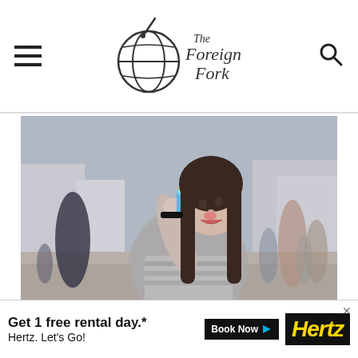The Foreign Fork
[Figure (photo): Young woman with long dark hair eating gelato or a dessert with a spoon from a cup, standing on a cobblestone street in a European city, people walking in background, wearing a striped shirt under a grey cardigan]
Hi there! My name is Alexandria. Thanks for stopping by! Spices, ingredients, ute all,
[Figure (infographic): Hertz advertisement banner: 'Get 1 free rental day.* Book Now Hertz. Let's Go!']